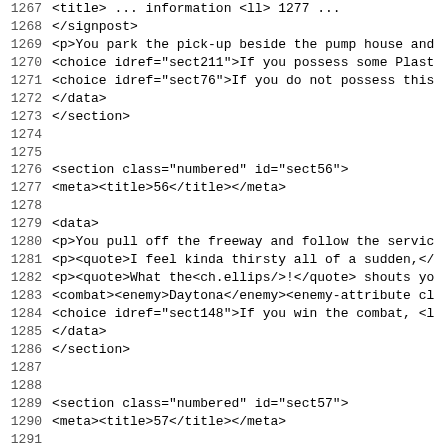Code listing lines 1267-1299, XML/markup source content
1267   <title> ... information <ll> 1277 ...
1268       </signpost>
1269       <p>You park the pick-up beside the pump house and
1270       <choice idref="sect211">If you possess some Plast
1271       <choice idref="sect76">If you do not possess this
1272       </data>
1273     </section>
1274
1275
1276     <section class="numbered" id="sect56">
1277       <meta><title>56</title></meta>
1278
1279       <data>
1280         <p>You pull off the freeway and follow the servic
1281         <p><quote>I feel kinda thirsty all of a sudden,</
1282         <p><quote>What the<ch.ellips/>!</quote> shouts yo
1283         <combat><enemy>Daytona</enemy><enemy-attribute cl
1284         <choice idref="sect148">If you win the combat, <l
1285       </data>
1286     </section>
1287
1288
1289     <section class="numbered" id="sect57">
1290       <meta><title>57</title></meta>
1291
1292       <data>
1293         <p>A firefight erupts on the far side of the bric
1294         <illustration class="float">
1295           <meta>
1296             <creator>Brian Williams</creator>
1297             <description>The moment he sees you, he levels
1298           </meta>
1299         <instance class="html" src="ill4.png" width="386